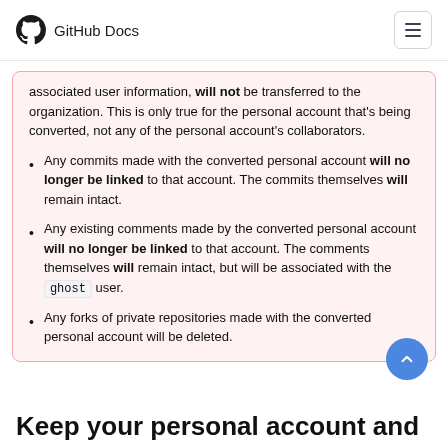GitHub Docs
associated user information, will not be transferred to the organization. This is only true for the personal account that's being converted, not any of the personal account's collaborators.
Any commits made with the converted personal account will no longer be linked to that account. The commits themselves will remain intact.
Any existing comments made by the converted personal account will no longer be linked to that account. The comments themselves will remain intact, but will be associated with the ghost user.
Any forks of private repositories made with the converted personal account will be deleted.
Keep your personal account and